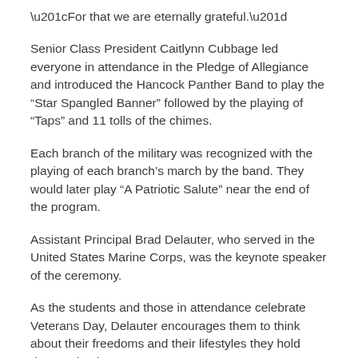“For that we are eternally grateful.”
Senior Class President Caitlynn Cubbage led everyone in attendance in the Pledge of Allegiance and introduced the Hancock Panther Band to play the “Star Spangled Banner” followed by the playing of “Taps” and 11 tolls of the chimes.
Each branch of the military was recognized with the playing of each branch’s march by the band. They would later play “A Patriotic Salute” near the end of the program.
Assistant Principal Brad Delauter, who served in the United States Marine Corps, was the keynote speaker of the ceremony.
As the students and those in attendance celebrate Veterans Day, Delauter encourages them to think about their freedoms and their lifestyles they hold dear and enjoy.
“Each life uniquely different than the other, yet all have the freedom to seek their individuality in our great nation,” he said.
For that reason alone, Delauter said he chose to serve the country.
“In an age where disrespect of our nation’s greatest virtues has